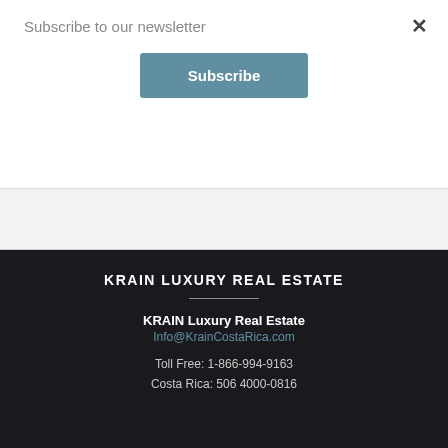Subscribe to our newsletter
Subscribe
×
KRAIN LUXURY REAL ESTATE
KRAIN Luxury Real Estate
Info@KrainCostaRica.com
Toll Free: 1-866-994-9163
Costa Rica: 506 4000-0816